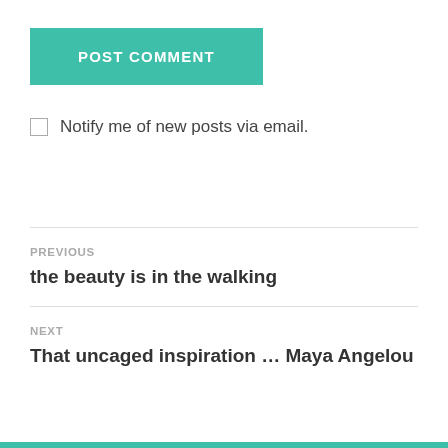[Figure (other): POST COMMENT button — teal/green rectangular button with white bold uppercase text]
Notify me of new posts via email.
PREVIOUS
the beauty is in the walking
NEXT
That uncaged inspiration … Maya Angelou